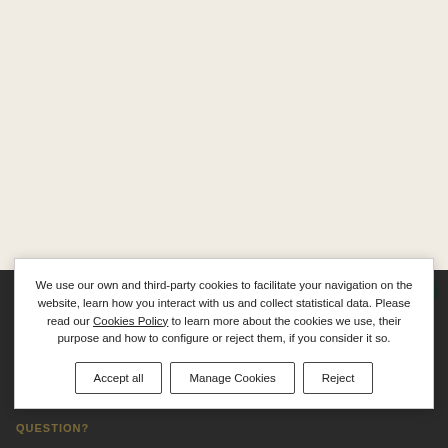We use our own and third-party cookies to facilitate your navigation on the website, learn how you interact with us and collect statistical data. Please read our Cookies Policy to learn more about the cookies we use, their purpose and how to configure or reject them, if you consider it so.
Accept all | Manage Cookies | Reject
QUESTION?